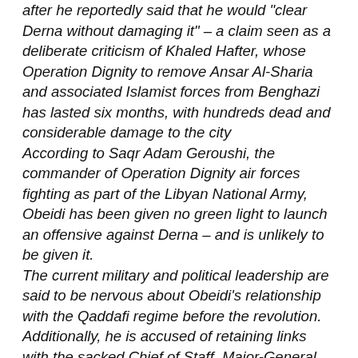after he reportedly said that he would "clear Derna without damaging it" – a claim seen as a deliberate criticism of Khaled Hafter, whose Operation Dignity to remove Ansar Al-Sharia and associated Islamist forces from Benghazi has lasted six months, with hundreds dead and considerable damage to the city
According to Saqr Adam Geroushi, the commander of Operation Dignity air forces fighting as part of the Libyan National Army, Obeidi has been given no green light to launch an offensive against Derna – and is unlikely to be given it.
The current military and political leadership are said to be nervous about Obeidi's relationship with the Qaddafi regime before the revolution. Additionally, he is accused of retaining links with the sacked Chief of Staff, Major-General Abdussalam Jadallah Obeidi, as well as with another military leader the Tobruk-based authorities regard